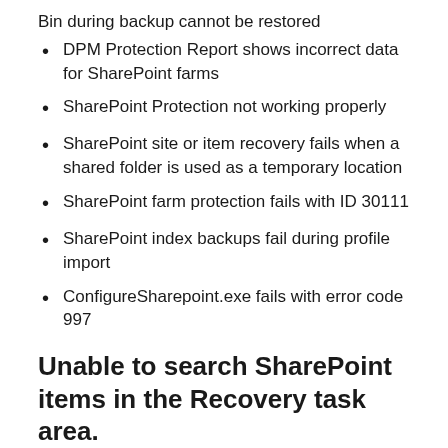Bin during backup cannot be restored
DPM Protection Report shows incorrect data for SharePoint farms
SharePoint Protection not working properly
SharePoint site or item recovery fails when a shared folder is used as a temporary location
SharePoint farm protection fails with ID 30111
SharePoint index backups fail during profile import
ConfigureSharepoint.exe fails with error code 997
Unable to search SharePoint items in the Recovery task area.
In DPM, to search for SharePoint items such as list items in